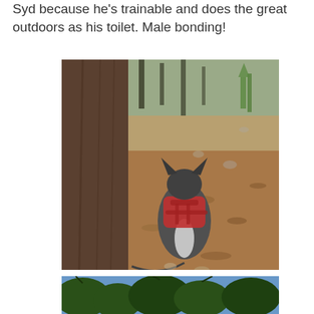Syd because he's trainable and does the great outdoors as his toilet. Male bonding!
[Figure (photo): A dog wearing a red harness viewed from behind, standing near a large tree trunk on a dry hillside covered with fallen leaves and scattered rocks, with charred trees visible in the background.]
[Figure (photo): Partial view of a second outdoor photo, showing trees from below against a bright sky.]